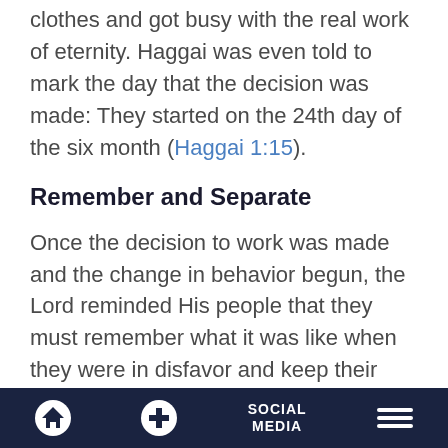the people of God 'hitched up' their work clothes and got busy with the real work of eternity. Haggai was even told to mark the day that the decision was made: They started on the 24th day of the six month (Haggai 1:15).
Remember and Separate
Once the decision to work was made and the change in behavior begun, the Lord reminded His people that they must remember what it was like when they were in disfavor and keep their families, their
Home | + | SOCIAL MEDIA | Menu